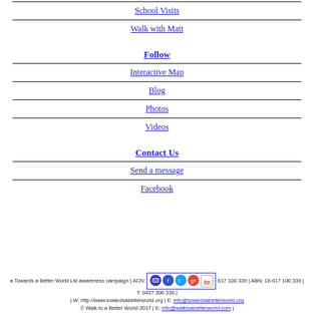School Visits
Walk with Matt
Follow
Interactive Map
Blog
Photos
Videos
Contact Us
Send a message
Facebook
a Towards a Better World Ltd awareness campaign | ACN: 617 100 339 | ABN: 18 617 100 339 | T: 0437 306 330 | | W: http://www.towardsabetterworld.org | E: info@towardsabetterworld.org | © Walk to a Better World 2017 | E: info@walktoabetterworld.com |